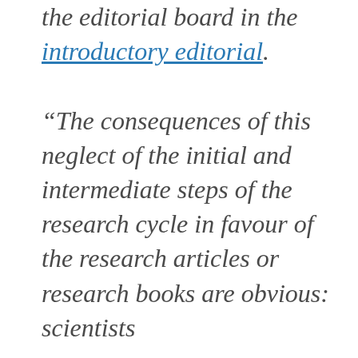the editorial board in the introductory editorial. “The consequences of this neglect of the initial and intermediate steps of the research cycle in favour of the research articles or research books are obvious: scientists